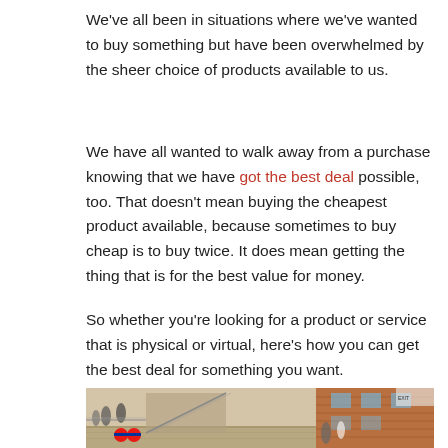We've all been in situations where we've wanted to buy something but have been overwhelmed by the sheer choice of products available to us.
We have all wanted to walk away from a purchase knowing that we have got the best deal possible, too. That doesn't mean buying the cheapest product available, because sometimes to buy cheap is to buy twice. It does mean getting the thing that is for the best value for money.
So whether you're looking for a product or service that is physical or virtual, here's how you can get the best deal for something you want.
[Figure (photo): A busy shopping mall or transit area with escalators, people walking, and a London Underground logo visible. Brick building exterior visible on the right.]